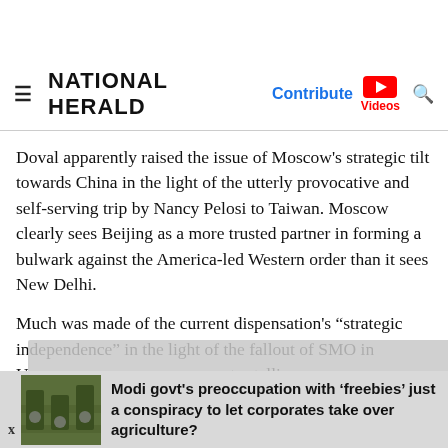≡ NATIONAL HERALD | Contribute | Videos
Doval apparently raised the issue of Moscow's strategic tilt towards China in the light of the utterly provocative and self-serving trip by Nancy Pelosi to Taiwan. Moscow clearly sees Beijing as a more trusted partner in forming a bulwark against the America-led Western order than it sees New Delhi.
Much was made of the current dispensation's "strategic independence" in the light of the fallout of SMO in U[...] try telling th[...] onesia,
Modi govt's preoccupation with 'freebies' just a conspiracy to let corporates take over agriculture?